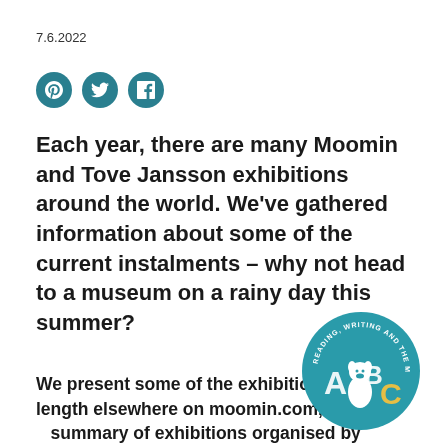7.6.2022
[Figure (infographic): Three teal circular social media icons: Pinterest, Twitter, Facebook]
Each year, there are many Moomin and Tove Jansson exhibitions around the world. We've gathered information about some of the current instalments – why not head to a museum on a rainy day this summer?
We present some of the exhibitions more at length elsewhere on moomin.com, but here's a summary of exhibitions organised by country:
[Figure (logo): Circular teal badge reading 'Reading, Writing and the Moomins' with ABC letters and Moomin character illustration]